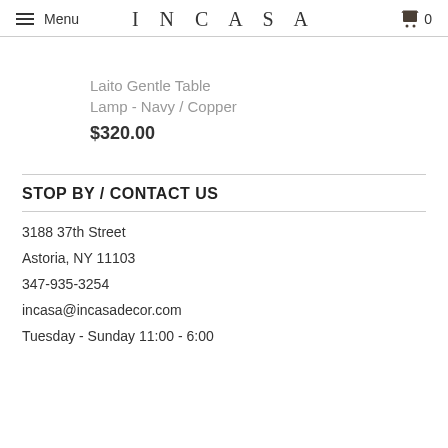Menu | INCASA | 0
Laito Gentle Table Lamp - Navy / Copper
$320.00
STOP BY / CONTACT US
3188 37th Street
Astoria, NY 11103
347-935-3254
incasa@incasadecor.com
Tuesday - Sunday 11:00 - 6:00